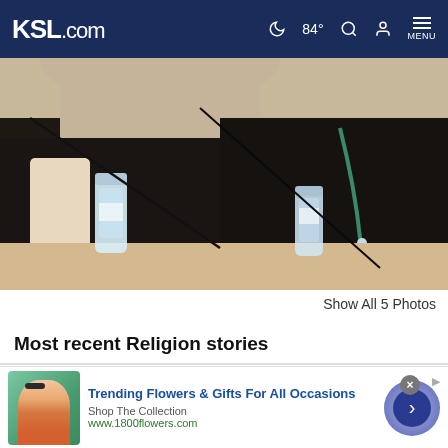KSL.com — 84° MENU
[Figure (photo): Close-up photo of people seated at a conference table with water bottles in the foreground, participants wearing dark clothing with lanyards.]
Show All 5 Photos
Most recent Religion stories
Cookie Notice

We use cookies to improve your experience, analyze site traffic, and to personalize content and ads. By continuing to use our site, you consent to our use of cookies. Please visit our Terms of Use and Privacy Policy for more information
[Figure (infographic): Advertisement banner for 1800flowers.com — 'Trending Flowers & Gifts For All Occasions', Shop The Collection, www.1800flowers.com, with woman holding flowers image and navigation arrow button.]